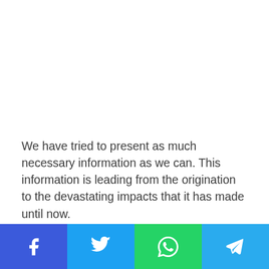We have tried to present as much necessary information as we can. This information is leading from the origination to the devastating impacts that it has made until now.
[Figure (other): Social media share bar with four buttons: Facebook (blue), Twitter (light blue), WhatsApp (green), Telegram (cyan), each showing their respective icons in white.]